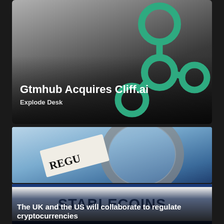[Figure (illustration): Dark gradient card with green git/network logo (circles connected by lines) on right side. Text overlay at bottom left.]
Gtmhub Acquires Cliff.ai
Explode Desk
[Figure (photo): Blue-toned photo showing a magnifying glass over paper with partial text 'REGU' visible, suggesting regulation theme.]
[Figure (illustration): White banner with dark navy horizontal stripes top and bottom reading STABLECOINS in large bold black letters.]
The UK and the US will collaborate to regulate cryptocurrencies